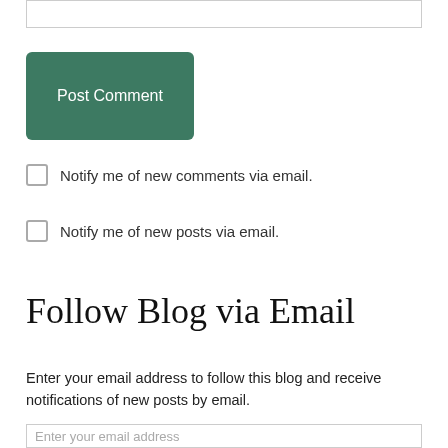[textarea input box]
Post Comment
Notify me of new comments via email.
Notify me of new posts via email.
Follow Blog via Email
Enter your email address to follow this blog and receive notifications of new posts by email.
Enter your email address